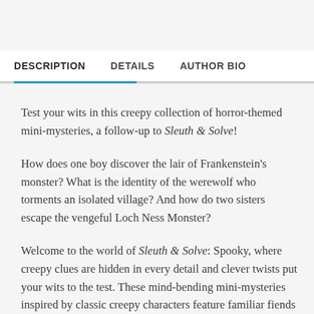DESCRIPTION   DETAILS   AUTHOR BIO
Test your wits in this creepy collection of horror-themed mini-mysteries, a follow-up to Sleuth & Solve!
How does one boy discover the lair of Frankenstein's monster? What is the identity of the werewolf who torments an isolated village? And how do two sisters escape the vengeful Loch Ness Monster?
Welcome to the world of Sleuth & Solve: Spooky, where creepy clues are hidden in every detail and clever twists put your wits to the test. These mind-bending mini-mysteries inspired by classic creepy characters feature familiar fiends